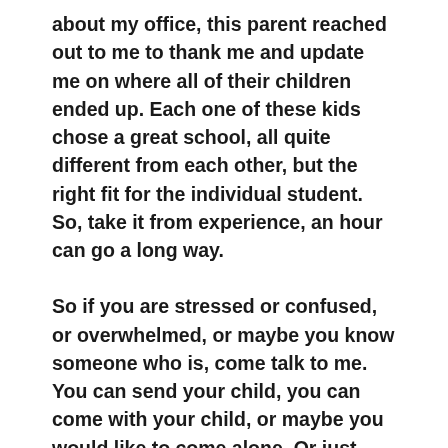about my office, this parent reached out to me to thank me and update me on where all of their children ended up. Each one of these kids chose a great school, all quite different from each other, but the right fit for the individual student. So, take it from experience, an hour can go a long way.
So if you are stressed or confused, or overwhelmed, or maybe you know someone who is, come talk to me. You can send your child, you can come with your child, or maybe you would like to come alone. Or just come see my office and have a Perrier. My seniors are all settled on their schools and my juniors aren't in application mode yet, so I have time. Consider it a thank you